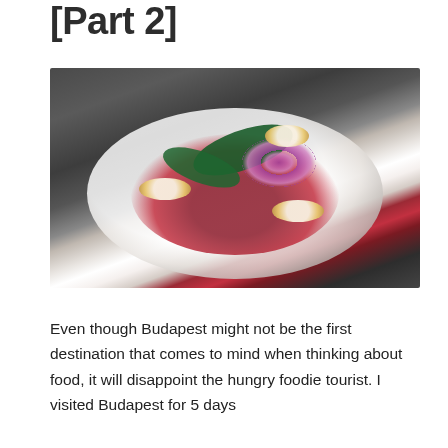[Part 2]
[Figure (photo): A white plate with a gourmet salad dish featuring beets, quail eggs, red onions, and green leaves in a red sauce, placed on a dark slatted table]
Even though Budapest might not be the first destination that comes to mind when thinking about food, it will disappoint the hungry foodie tourist. I visited Budapest for 5 days